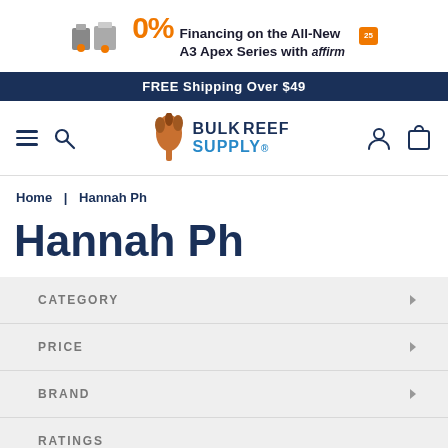[Figure (infographic): Banner advertisement for 0% Financing on the All-New A3 Apex Series with Affirm, with product images and a 25th anniversary badge]
FREE Shipping Over $49
[Figure (logo): Bulk Reef Supply logo with coral mascot]
Home | Hannah Ph
Hannah Ph
CATEGORY
PRICE
BRAND
RATINGS